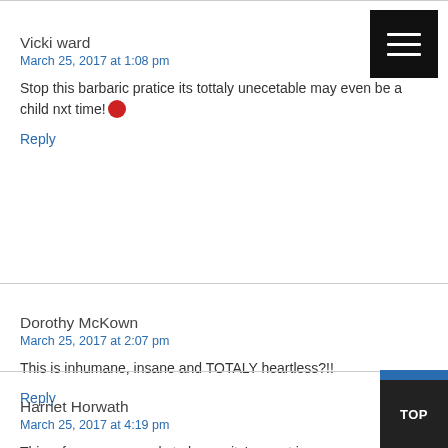Vicki ward
March 25, 2017 at 1:08 pm
Stop this barbaric pratice its tottaly unecetable may even be a child nxt time! 😡
Reply
Dorothy McKown
March 25, 2017 at 2:07 pm
This is inhumane, insane and TOTALY heartless?!!
Reply
Harriet Horwath
March 25, 2017 at 4:19 pm
This, of course, appeals to humanity's worst in... Thank you for exposing it. Wayne. I think I need to